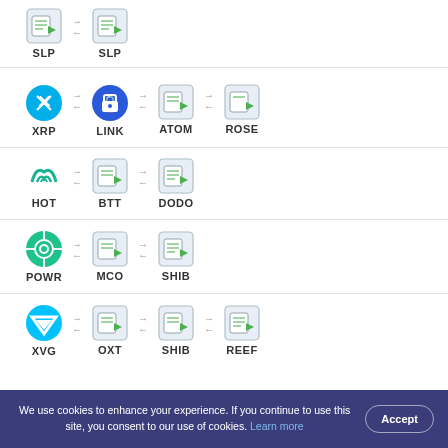[Figure (infographic): Cryptocurrency exchange pairs shown as rows. Row 1: SLP to SLP. Row 2: XRP to LINK to ATOM to ROSE. Row 3: HOT to BTT to DODO. Row 4: POWR to MCO to SHIB. Row 5: XVG to OXT to SHIB to REEF. Each coin shown with icon and ticker label, connected by double-headed arrows.]
We use cookies to enhance your experience. If you continue to use this site, you consent to our use of cookies. Learn more